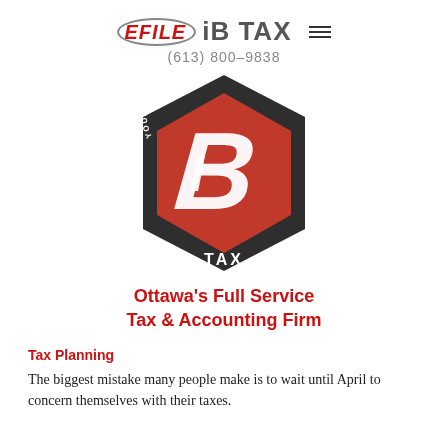EFILE iB TAX (613) 800-9838
[Figure (logo): iB TAX hexagon logo with text 'YOUR TRUSTED ACCOUNTING & TAX SPECIALIST' around the border and a large stylized IB monogram in the center on a red background, with 'TAX' below in white text]
Ottawa's Full Service Tax & Accounting Firm
Tax Planning
The biggest mistake many people make is to wait until April to concern themselves with their taxes.